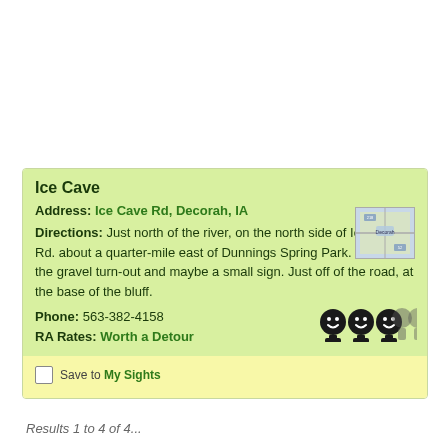Ice Cave
Address: Ice Cave Rd, Decorah, IA
Directions: Just north of the river, on the north side of Ice Cave Rd. about a quarter-mile east of Dunnings Spring Park. Look for the gravel turn-out and maybe a small sign. Just off of the road, at the base of the bluff.
Phone: 563-382-4158
RA Rates: Worth a Detour
[Figure (map): Small thumbnail map showing Decorah, IA area with road markers]
[Figure (infographic): Rating icons: three filled smiley-face figures and two grayed-out tree/person silhouettes indicating Worth a Detour rating]
Save to My Sights
Results 1 to 4 of 4...